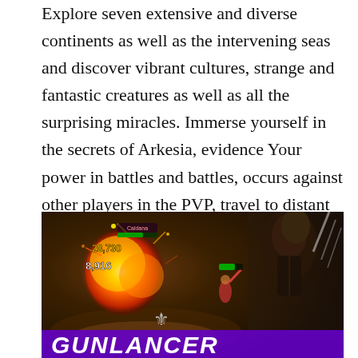Explore seven extensive and diverse continents as well as the intervening seas and discover vibrant cultures, strange and fantastic creatures as well as all the surprising miracles. Immerse yourself in the secrets of Arkesia, evidence Your power in battles and battles, occurs against other players in the PVP, travel to distant islands looking for hidden riches, place hordes of enemies and colossal bosses in the open world and more.
[Figure (screenshot): Screenshot from an MMORPG game (Lost Ark) showing combat gameplay with fire explosion effects, damage numbers (28,730 and 8,916), a character named Caldana, and a heavily armored boss character on the right side. The bottom shows a purple banner with 'GUNLANCER' text in bold italic white letters.]